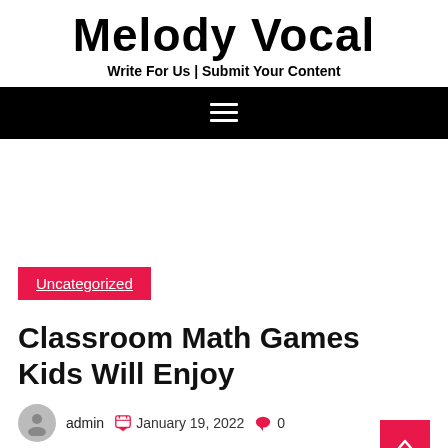Melody Vocal
Write For Us | Submit Your Content
[Figure (other): Black navigation bar with hamburger menu icon (three white horizontal lines)]
Uncategorized
Classroom Math Games Kids Will Enjoy
admin  January 19, 2022  0